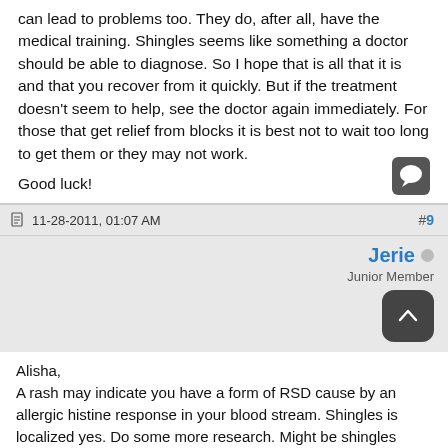can lead to problems too. They do, after all, have the medical training. Shingles seems like something a doctor should be able to diagnose. So I hope that is all that it is and that you recover from it quickly. But if the treatment doesn't seem to help, see the doctor again immediately. For those that get relief from blocks it is best not to wait too long to get them or they may not work.
Good luck!
11-28-2011, 01:07 AM
#9
Jerie
Junior Member
Alisha,
A rash may indicate you have a form of RSD cause by an allergic histine response in your blood stream. Shingles is localized yes. Do some more research. Might be shingles